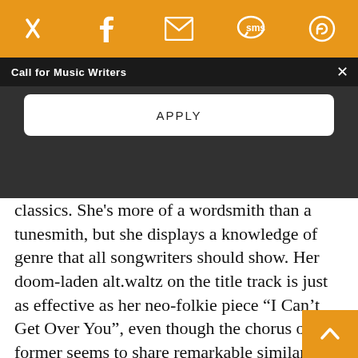Social share bar with Twitter, Facebook, Email, SMS, and another icon
Call for Music Writers
APPLY
classics. She's more of a wordsmith than a tunesmith, but she displays a knowledge of genre that all songwriters should show. Her doom-laden alt.waltz on the title track is just as effective as her neo-folkie piece “I Can’t Get Over You”, even though the chorus of the former seems to share remarkable similarities to the “Pbbbt you was gone” song from “Hee Haw.” (Dating myself with that one, there, but there you have it.) The way Buddy reacts to her words is truly inspirational they are pretty clearly symbiotic on pieces like “Oh